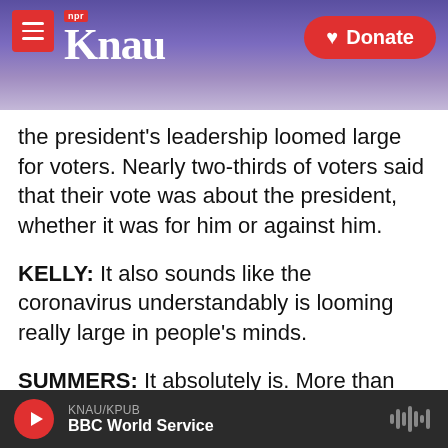KNAU / NPR - Donate
the president's leadership loomed large for voters. Nearly two-thirds of voters said that their vote was about the president, whether it was for him or against him.
KELLY: It also sounds like the coronavirus understandably is looming really large in people's minds.
SUMMERS: It absolutely is. More than half of voters - 53% - say that the coronavirus pandemic is not at all under control. Roughly 4 in 10 say this was the top issue facing this country. We're also learning a
KNAU/KPUB BBC World Service